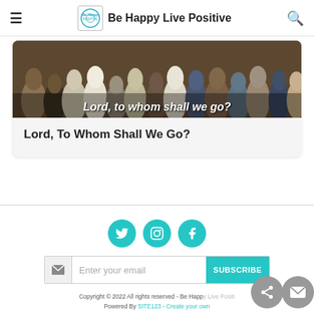Be Happy Live Positive
[Figure (illustration): Religious painting showing robed figures with text overlay reading 'Lord, to whom shall we go?']
Lord, To Whom Shall We Go?
[Figure (infographic): Social media icons: Twitter, Instagram, Facebook in teal circles]
Enter your email | SUBSCRIBE
Copyright © 2022 All rights reserved - Be Happy Live Positive. Powered By SITE123 - Create your own